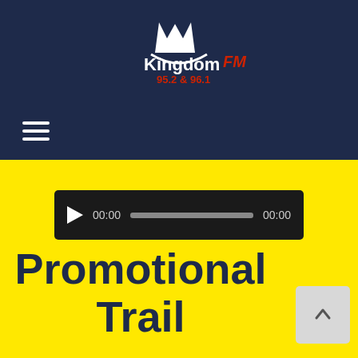[Figure (logo): Kingdom FM 95.2 & 96.1 radio station logo with crown icon, white text on dark navy background]
[Figure (screenshot): Audio player widget showing play button, 00:00 start time, progress bar, and 00:00 end time on dark background]
Promotional Trail